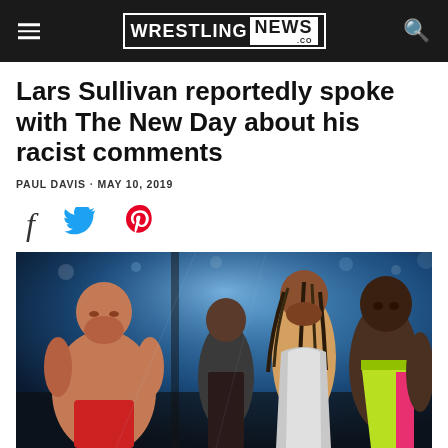Wrestling News
Lars Sullivan reportedly spoke with The New Day about his racist comments
PAUL DAVIS · MAY 10, 2019
[Figure (other): Social sharing icons: Facebook (f), Twitter (bird), Pinterest (P)]
[Figure (photo): Lars Sullivan (large shirtless man) facing The New Day wrestlers (three Black men in colorful ring gear) in a wrestling arena with blue lighting]